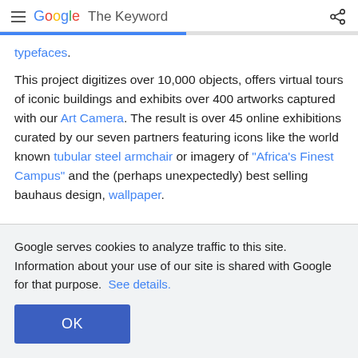Google The Keyword
typefaces.
This project digitizes over 10,000 objects, offers virtual tours of iconic buildings and exhibits over 400 artworks captured with our Art Camera. The result is over 45 online exhibitions curated by our seven partners featuring icons like the world known tubular steel armchair or imagery of "Africa's Finest Campus" and the (perhaps unexpectedly) best selling bauhaus design, wallpaper.
Google serves cookies to analyze traffic to this site. Information about your use of our site is shared with Google for that purpose.  See details.